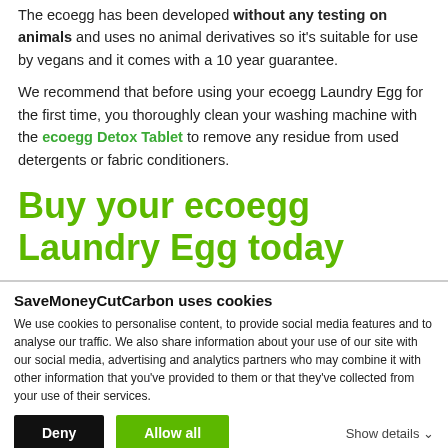The ecoegg has been developed without any testing on animals and uses no animal derivatives so it's suitable for use by vegans and it comes with a 10 year guarantee.
We recommend that before using your ecoegg Laundry Egg for the first time, you thoroughly clean your washing machine with the ecoegg Detox Tablet to remove any residue from used detergents or fabric conditioners.
Buy your ecoegg Laundry Egg today
SaveMoneyCutCarbon uses cookies
We use cookies to personalise content, to provide social media features and to analyse our traffic. We also share information about your use of our site with our social media, advertising and analytics partners who may combine it with other information that you've provided to them or that they've collected from your use of their services.